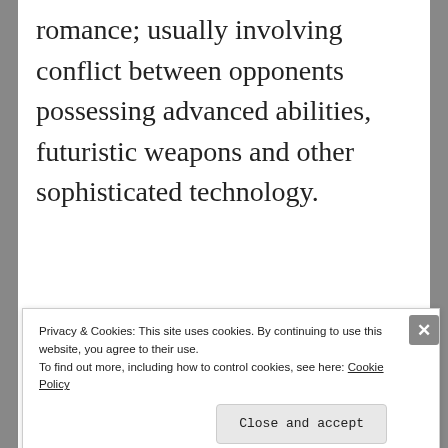romance; usually involving conflict between opponents possessing advanced abilities, futuristic weapons and other sophisticated technology.
[Figure (infographic): Advertisement banner: bold text 'Build a better web and a better world.' with a blue Apply button and a circular photo of a man thinking.]
Privacy & Cookies: This site uses cookies. By continuing to use this website, you agree to their use.
To find out more, including how to control cookies, see here: Cookie Policy
Close and accept